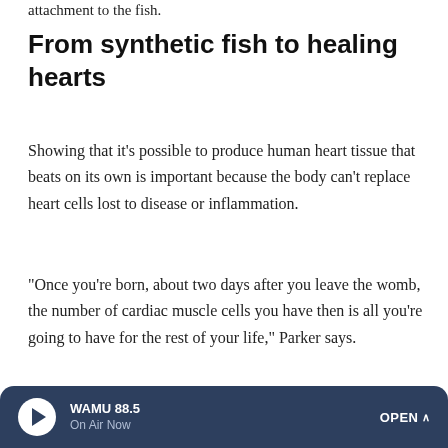attachment to the fish.
From synthetic fish to healing hearts
Showing that it's possible to produce human heart tissue that beats on its own is important because the body can't replace heart cells lost to disease or inflammation.
"Once you're born, about two days after you leave the womb, the number of cardiac muscle cells you have then is all you're going to have for the rest of your life," Parker says.
[Figure (photo): Newborn baby wrapped in green blanket]
SHOTS - HEALTH NEWS
What crying baby mice could teach us about human speech
WAMU 88.5 On Air Now OPEN ^